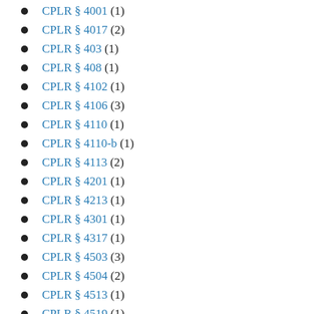CPLR § 4001 (1)
CPLR § 4017 (2)
CPLR § 403 (1)
CPLR § 408 (1)
CPLR § 4102 (1)
CPLR § 4106 (3)
CPLR § 4110 (1)
CPLR § 4110-b (1)
CPLR § 4113 (2)
CPLR § 4201 (1)
CPLR § 4213 (1)
CPLR § 4301 (1)
CPLR § 4317 (1)
CPLR § 4503 (3)
CPLR § 4504 (2)
CPLR § 4513 (1)
CPLR § 4519 (1)